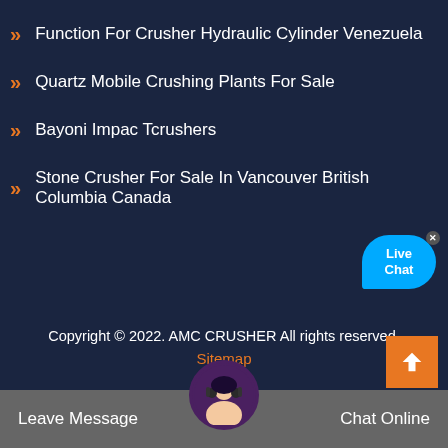Function For Crusher Hydraulic Cylinder Venezuela
Quartz Mobile Crushing Plants For Sale
Bayoni Impac Tcrushers
Stone Crusher For Sale In Vancouver British Columbia Canada
Copyright © 2022. AMC CRUSHER All rights reserved.
Sitemap